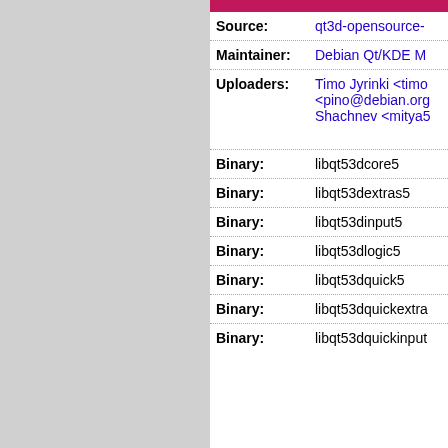| Field | Value |
| --- | --- |
| Source: | qt3d-opensource-... |
| Maintainer: | Debian Qt/KDE M... |
| Uploaders: | Timo Jyrinki <timo... <pino@debian.org... Shachnev <mitya5... |
| Binary: | libqt53dcore5 |
| Binary: | libqt53dextras5 |
| Binary: | libqt53dinput5 |
| Binary: | libqt53dlogic5 |
| Binary: | libqt53dquick5 |
| Binary: | libqt53dquickextra... |
| Binary: | libqt53dquickinput... |